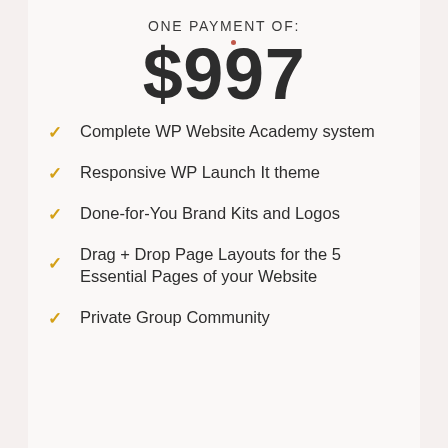ONE PAYMENT OF:
$997
Complete WP Website Academy system
Responsive WP Launch It theme
Done-for-You Brand Kits and Logos
Drag + Drop Page Layouts for the 5 Essential Pages of your Website
Private Group Community